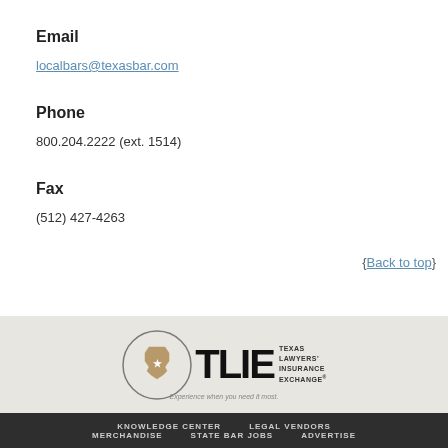Email
localbars@texasbar.com
Phone
800.204.2222 (ext. 1514)
Fax
(512) 427-4263
{Back to top}
[Figure (logo): TLIE – Texas Lawyers' Insurance Exchange logo with tagline 'Experience when you need it most.']
KNOWLEDGE CENTER   LEGAL VENDORS   MERCHANDISE   STATE BAR JOBS   ADVERTISE